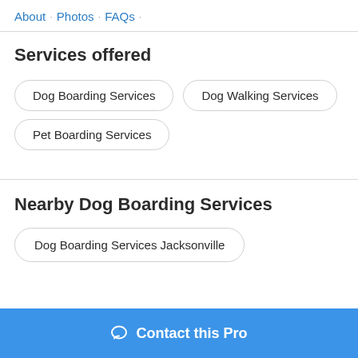About · Photos · FAQs ·
Services offered
Dog Boarding Services
Dog Walking Services
Pet Boarding Services
Nearby Dog Boarding Services
Dog Boarding Services Jacksonville
Contact this Pro